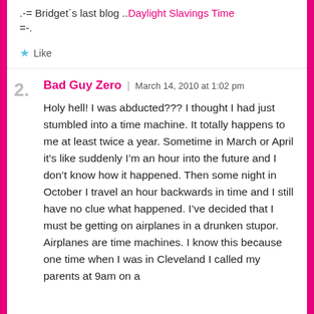.-= Bridget´s last blog ..Daylight Slavings Time =-.
Like
Bad Guy Zero | March 14, 2010 at 1:02 pm
Holy hell! I was abducted??? I thought I had just stumbled into a time machine. It totally happens to me at least twice a year. Sometime in March or April it's like suddenly I'm an hour into the future and I don't know how it happened. Then some night in October I travel an hour backwards in time and I still have no clue what happened. I've decided that I must be getting on airplanes in a drunken stupor. Airplanes are time machines. I know this because one time when I was in Cleveland I called my parents at 9am on a